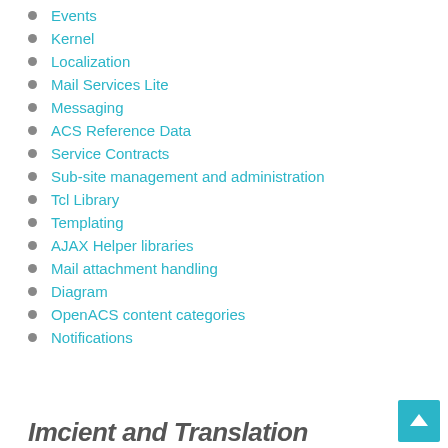Events
Kernel
Localization
Mail Services Lite
Messaging
ACS Reference Data
Service Contracts
Sub-site management and administration
Tcl Library
Templating
AJAX Helper libraries
Mail attachment handling
Diagram
OpenACS content categories
Notifications
Imcient and Translation